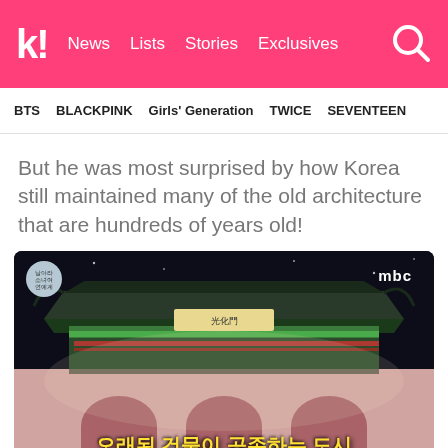k! News  Lists  Stories  Exclusives
BTS  BLACKPINK  Girls' Generation  TWICE  SEVENTEEN
But he was most surprised by how Korea still maintained many of the old architecture that are hundreds of years old!
[Figure (screenshot): Night shot of Gwanghwamun Gate (Korean palace gate) illuminated with green and white lights, with pink arched stonework below. MBC broadcast logo in top right, Korean broadcast logo in top left, Korean subtitle text at bottom reading 오래된 건물이 공존하는 도시]